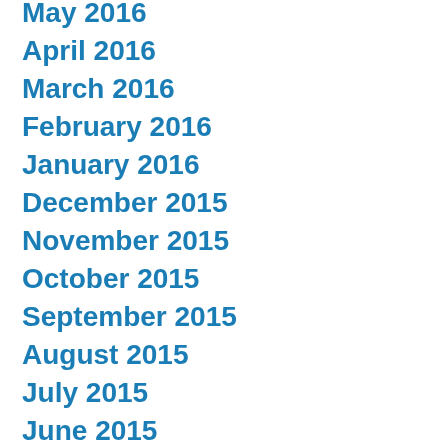May 2016
April 2016
March 2016
February 2016
January 2016
December 2015
November 2015
October 2015
September 2015
August 2015
July 2015
June 2015